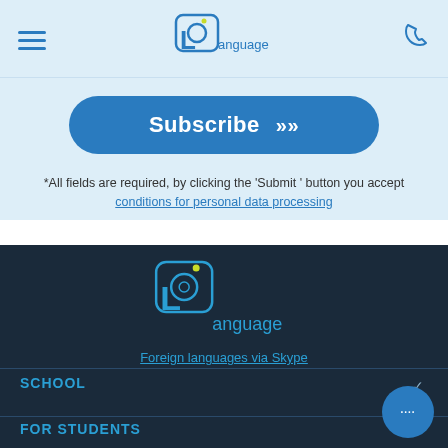Language School logo, hamburger menu, phone icon
[Figure (logo): Language school logo with stylized L and circular language symbol, top header]
Subscribe >>
*All fields are required, by clicking the 'Submit ' button you accept conditions for personal data processing
[Figure (logo): Language school logo in dark footer area with circular icon and 'anguage' text]
Foreign languages via Skype
SCHOOL
FOR STUDENTS